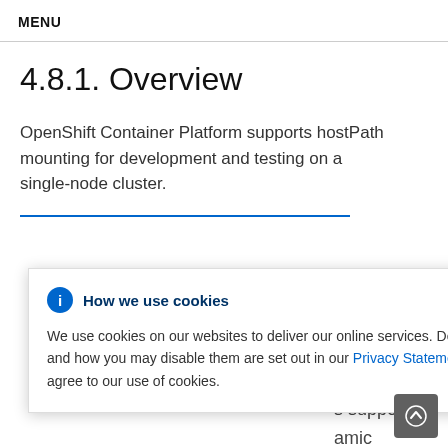MENU
4.8.1. Overview
OpenShift Container Platform supports hostPath mounting for development and testing on a single-node cluster.
[Figure (screenshot): Cookie consent modal dialog with blue info icon, title 'How we use cookies', close button (×), and body text about cookie usage with a Privacy Statement link. Partially overlaid on page content showing fragments: 'e', 'or would', 'GCE', 'r an', 's support', 'amic'.]